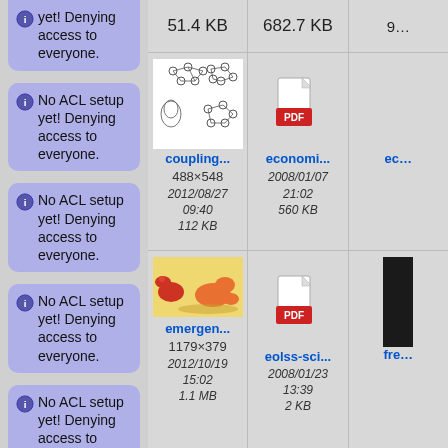No ACL setup yet! Denying access to everyone.
No ACL setup yet! Denying access to everyone.
No ACL setup yet! Denying access to everyone.
No ACL setup yet! Denying access to everyone.
No ACL setup yet! Denying access to everyone.
51.4 KB
682.7 KB
[Figure (network-graph): Network graph showing nodes connected by edges, with a penguin-like figure at bottom left]
coupling...
488×548
2012/08/27 09:40
112 KB
[Figure (other): PDF file icon]
economi...
2008/01/07 21:02
560 KB
[Figure (illustration): Cartoon dinosaur/characters banner image]
emergen...
1179×379
2012/10/19 15:02
1.1 MB
[Figure (other): PDF file icon]
eolss-sci...
2008/01/23 13:39
2 KB